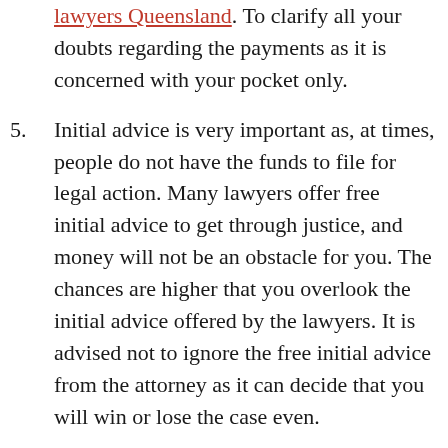lawyers Queensland. To clarify all your doubts regarding the payments as it is concerned with your pocket only.
5. Initial advice is very important as, at times, people do not have the funds to file for legal action. Many lawyers offer free initial advice to get through justice, and money will not be an obstacle for you. The chances are higher that you overlook the initial advice offered by the lawyers. It is advised not to ignore the free initial advice from the attorney as it can decide that you will win or lose the case even.
6. On making a list try contacting them and fix a